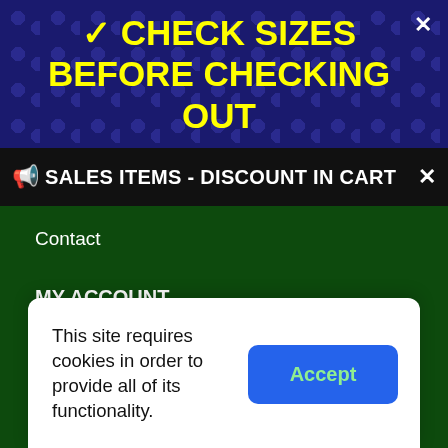✓ CHECK SIZES BEFORE CHECKING OUT
📢 SALES ITEMS - DISCOUNT IN CART
Contact
MY ACCOUNT
My Cart
Order Status
Gift Cards
Happy Customers
This site requires cookies in order to provide all of its functionality.